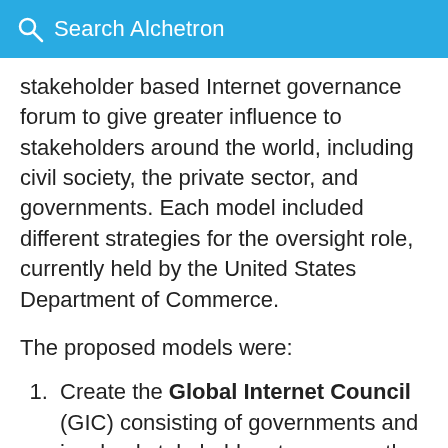Search Alchetron
stakeholder based Internet governance forum to give greater influence to stakeholders around the world, including civil society, the private sector, and governments. Each model included different strategies for the oversight role, currently held by the United States Department of Commerce.
The proposed models were:
Create the Global Internet Council (GIC) consisting of governments and involved stakeholders to assume the U.S. oversight role of ICANN.
Ensure that ICANNs Governmental Committee is an official forum for debate
Covid-19